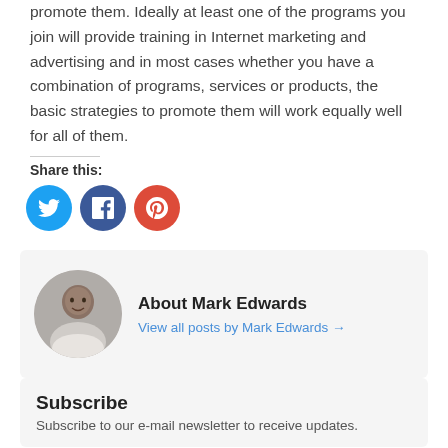promote them. Ideally at least one of the programs you join will provide training in Internet marketing and advertising and in most cases whether you have a combination of programs, services or products, the basic strategies to promote them will work equally well for all of them.
Share this:
[Figure (other): Social share icons: Twitter (blue circle), Facebook (dark blue circle), Google+ (red circle)]
About Mark Edwards
View all posts by Mark Edwards →
Subscribe
Subscribe to our e-mail newsletter to receive updates.